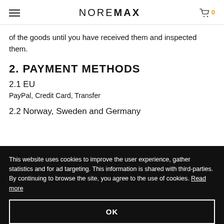NOREMAX
of the goods until you have received them and inspected them.
2. PAYMENT METHODS
2.1 EU
PayPal, Credit Card, Transfer
2.2 Norway, Sweden and Germany
This website uses cookies to improve the user experience, gather statistics and for ad targeting. This information is shared with third-parties. By continuing to browse the site, you agree to the use of cookies. Read more
OK